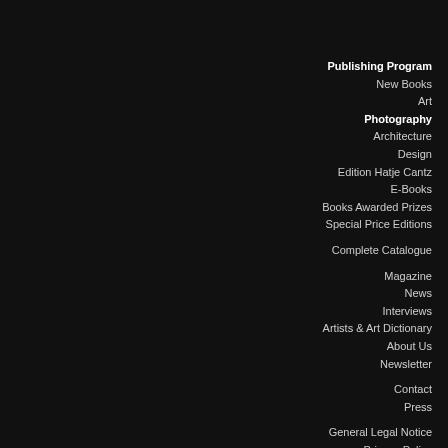Publishing Program
New Books
Art
Photography
Architecture
Design
Edition Hatje Cantz
E-Books
Books Awarded Prizes
Special Price Editions
Complete Catalogue
Magazine
News
Interviews
Artists & Art Dictionary
About Us
Newsletter
Contact
Press
General Legal Notice
Privacy Policy
Diese Webseite … Cookies und Google Analytics mit Opt-Out Funktion Datenschutz… Ich b…erstanden
[Figure (photo): Book cover: HOME ALONE - A Survival Guide by Max Siedl, with E-BOOK badge, yellow background]
Max Sied… Home Alo… » More info » To Wish l… 2020, English € 11.99
[Figure (photo): Book cover: cityscape/skyline with water reflection, foggy]
0,01 Privilege … » More info » To Wish l… 2016, English € 15.00
[Figure (photo): Book cover: Beomsik … Archisculp… castle-like building, 2015, English]